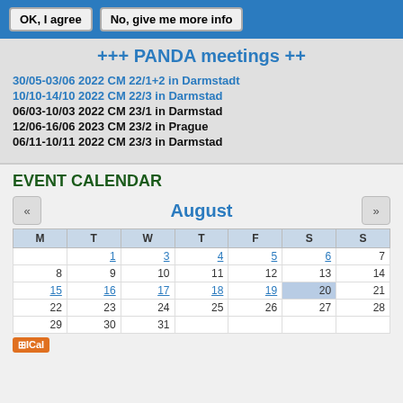OK, I agree | No, give me more info
+++ PANDA meetings ++
30/05-03/06 2022 CM 22/1+2 in Darmstadt
10/10-14/10 2022 CM 22/3 in Darmstad
06/03-10/03 2022 CM 23/1 in Darmstad
12/06-16/06 2023 CM 23/2 in Prague
06/11-10/11 2022 CM 23/3 in Darmstad
EVENT CALENDAR
August
| M | T | W | T | F | S | S |
| --- | --- | --- | --- | --- | --- | --- |
|  | 1 | 3 | 4 | 5 | 6 | 7 |
| 8 | 9 | 10 | 11 | 12 | 13 | 14 |
| 15 | 16 | 17 | 18 | 19 | 20 | 21 |
| 22 | 23 | 24 | 25 | 26 | 27 | 28 |
| 29 | 30 | 31 |  |  |  |  |